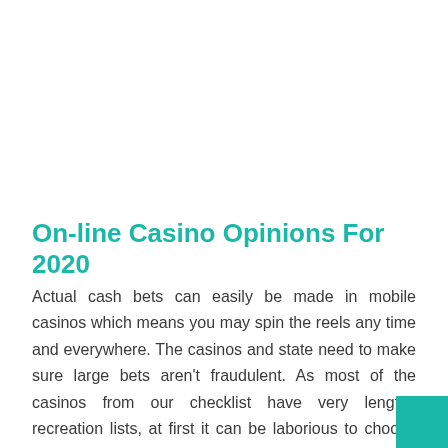On-line Casino Opinions For 2020
Actual cash bets can easily be made in mobile casinos which means you may spin the reels any time and everywhere. The casinos and state need to make sure large bets aren't fraudulent. As most of the casinos from our checklist have very lengthy recreation lists, at first it can be laborious to choose what to play. Most casinos online don't settle for cryptocurrency payments, which is comprehensible contemplating the anonymity they provide. Nonetheless, many sites permit players to fund their accounts by way of wire switch, money